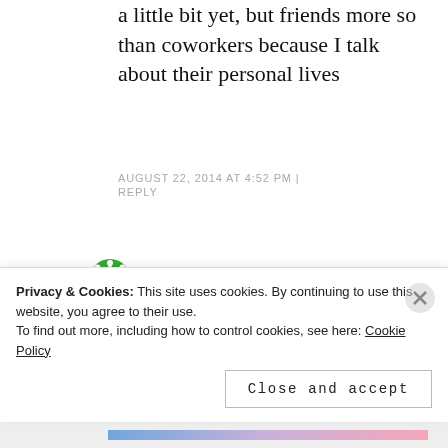a little bit yet, but friends more so than coworkers because I talk about their personal lives
AUGUST 22, 2014 AT 4:52 PM | REPLY
TROLL says:
if you're looking at things like hondas and nissans, consider the new mazda 3 or 6. they're completely new from the older
Privacy & Cookies: This site uses cookies. By continuing to use this website, you agree to their use. To find out more, including how to control cookies, see here: Cookie Policy
Close and accept